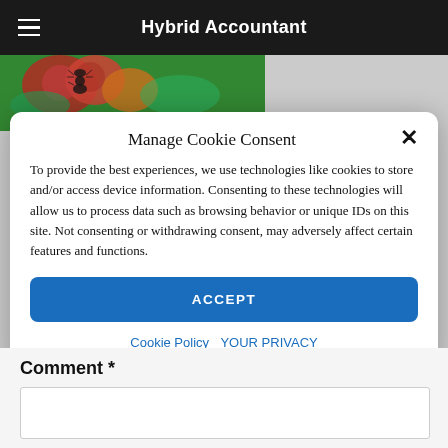Hybrid Accountant
[Figure (photo): Close-up photo of insects on red/orange berries with green foliage background]
Manage Cookie Consent
To provide the best experiences, we use technologies like cookies to store and/or access device information. Consenting to these technologies will allow us to process data such as browsing behavior or unique IDs on this site. Not consenting or withdrawing consent, may adversely affect certain features and functions.
ACCEPT
Cookie Policy  YOUR PRIVACY
Comment *